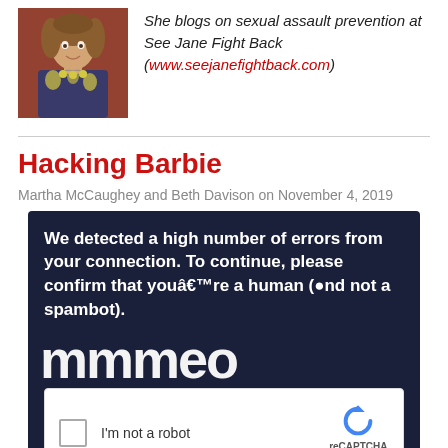[Figure (photo): Headshot photo of a woman with curly hair, wearing a patterned top and yellow necklace, standing in front of a brick wall]
She blogs on sexual assault prevention at See Jane Fight Back (www.seejanefightback.com)
Hacking Barbie
Martha McCaughey and Beth Davison on November 4, 2019
[Figure (screenshot): Screenshot of a reCAPTCHA widget on a dark navy background showing the message: We detected a high number of errors from your connection. To continue, please confirm that you’re a human (and not a spambot). Below is a reCAPTCHA checkbox saying I'm not a robot with the reCAPTCHA logo and Privacy - Terms links.]